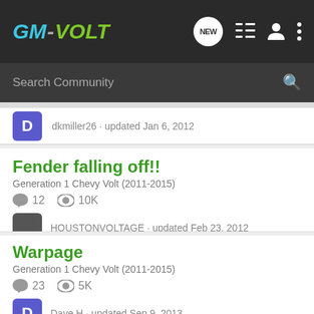[Figure (screenshot): GM-Volt community forum header/navigation bar with logo, NEW button, list icon, user icon, and dots menu]
Search Community
dkmiller26 · updated Jan 6, 2012
Fender falling off!!
Generation 1 Chevy Volt (2011-2015)
12   10K
HOUSTONVOLTAGE · updated Feb 23, 2012
Warpage
Generation 1 Chevy Volt (2011-2015)
23   5K
Dave H · updated Sep 9, 2013